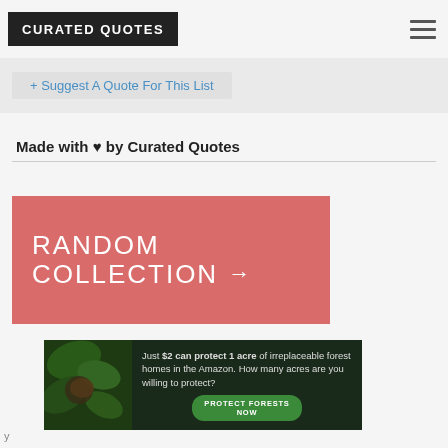CURATED QUOTES
+ Suggest A Quote For This List
Made with ♥ by Curated Quotes
[Figure (illustration): Pink/salmon colored banner button with white text reading RANDOM COLLECTION and a right arrow]
[Figure (illustration): Advertisement banner with forest/Amazon theme: 'Just $2 can protect 1 acre of irreplaceable forest homes in the Amazon. How many acres are you willing to protect?' with a green PROTECT FORESTS NOW button]